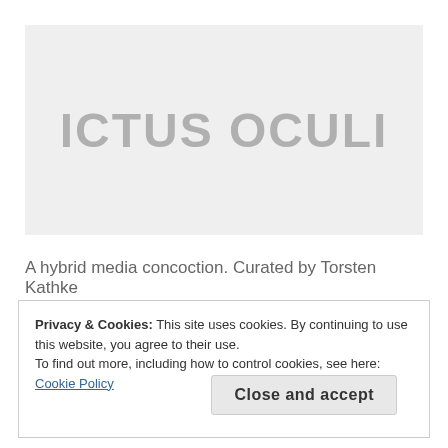[Figure (other): Light gray hero banner background with large title text 'ICTUS OCULI' in bold gray uppercase letters centered on the banner]
ICTUS OCULI
A hybrid media concoction. Curated by Torsten Kathke
Privacy & Cookies: This site uses cookies. By continuing to use this website, you agree to their use.
To find out more, including how to control cookies, see here: Cookie Policy
Close and accept